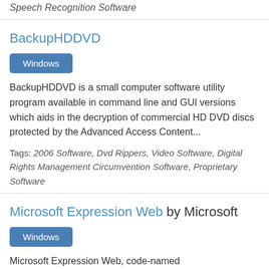Speech Recognition Software
BackupHDDVD
Windows
BackupHDDVD is a small computer software utility program available in command line and GUI versions which aids in the decryption of commercial HD DVD discs protected by the Advanced Access Content...
Tags: 2006 Software, Dvd Rippers, Video Software, Digital Rights Management Circumvention Software, Proprietary Software
Microsoft Expression Web by Microsoft
Windows
Microsoft Expression Web, code-named